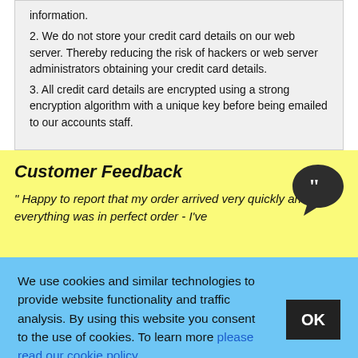information.
2. We do not store your credit card details on our web server. Thereby reducing the risk of hackers or web server administrators obtaining your credit card details.
3. All credit card details are encrypted using a strong encryption algorithm with a unique key before being emailed to our accounts staff.
Customer Feedback
" Happy to report that my order arrived very quickly and everything was in perfect order - I've
We use cookies and similar technologies to provide website functionality and traffic analysis. By using this website you consent to the use of cookies. To learn more please read our cookie policy.
Contact Us                                                        Top of Page